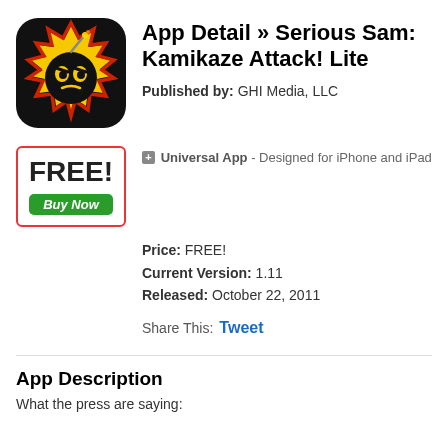[Figure (illustration): App icon for Serious Sam: Kamikaze Attack! Lite — a bomb character with angry face on a yellow sunburst, black rounded-square background]
App Detail » Serious Sam: Kamikaze Attack! Lite
Published by: GHI Media, LLC
[Figure (other): FREE! price box with red border and green Buy Now button]
+ Universal App - Designed for iPhone and iPad
Price: FREE!
Current Version: 1.11
Released: October 22, 2011
Share This: Tweet
App Description
What the press are saying: